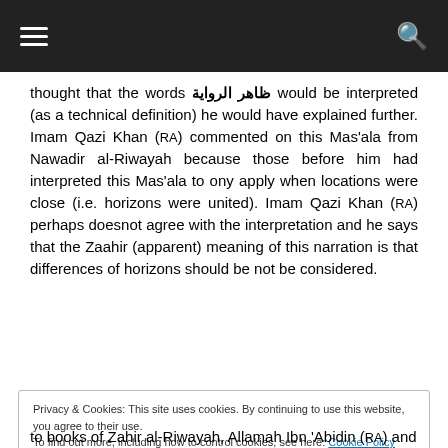[hamburger menu icon] [search icon]
thought that the words ظاهر الرواية would be interpreted (as a technical definition) he would have explained further. Imam Qazi Khan (RA) commented on this Mas'ala from Nawadir al-Riwayah because those before him had interpreted this Mas'ala to ony apply when locations were close (i.e. horizons were united). Imam Qazi Khan (RA) perhaps doesnot agree with the interpretation and he says that the Zaahir (apparent) meaning of this narration is that differences of horizons should be not be considered.
Privacy & Cookies: This site uses cookies. By continuing to use this website, you agree to their use.
To find out more, including how to control cookies, see here: Cookie Policy
[Close and accept button]
to books of Zahir al-Riwayah, Allamah Ibn 'Abidin (RA) and